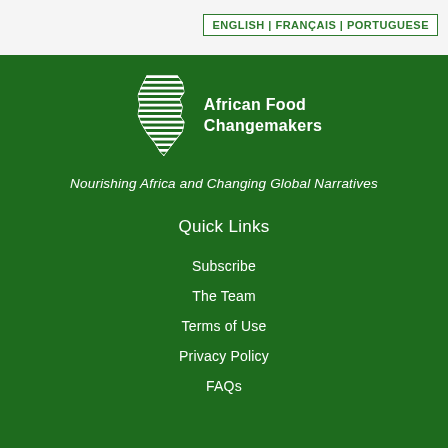ENGLISH | FRANÇAIS | PORTUGUESE
[Figure (logo): African Food Changemakers logo — white silhouette of Africa with horizontal lines, next to text 'African Food Changemakers']
Nourishing Africa and Changing Global Narratives
Quick Links
Subscribe
The Team
Terms of Use
Privacy Policy
FAQs